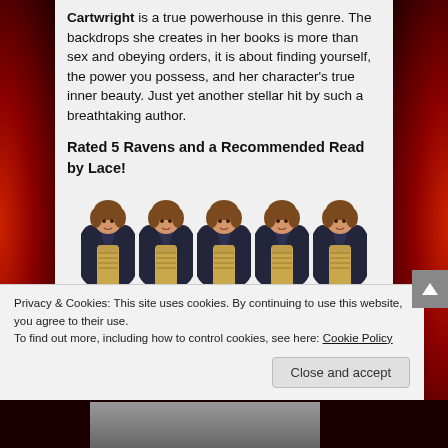Cartwright is a true powerhouse in this genre. The backdrops she creates in her books is more than sex and obeying orders, it is about finding yourself, the power you possess, and her character's true inner beauty. Just yet another stellar hit by such a breathtaking author.
Rated 5 Ravens and a Recommended Read by Lace!
[Figure (illustration): Five raven angel figures in a row, each depicted as a woman with dark wings wearing a gold dress, with brown hair]
Privacy & Cookies: This site uses cookies. By continuing to use this website, you agree to their use. To find out more, including how to control cookies, see here: Cookie Policy
Close and accept